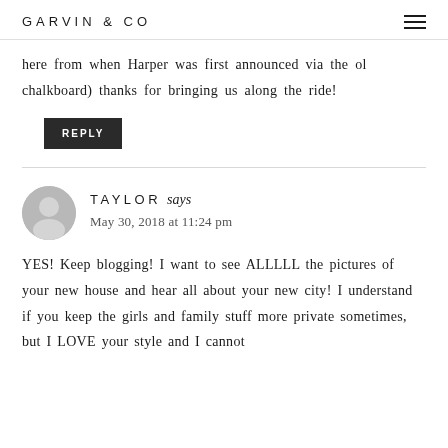GARVIN & CO
here from when Harper was first announced via the ol chalkboard) thanks for bringing us along the ride!
REPLY
TAYLOR says
May 30, 2018 at 11:24 pm
YES! Keep blogging! I want to see ALLLLL the pictures of your new house and hear all about your new city! I understand if you keep the girls and family stuff more private sometimes, but I LOVE your style and I cannot